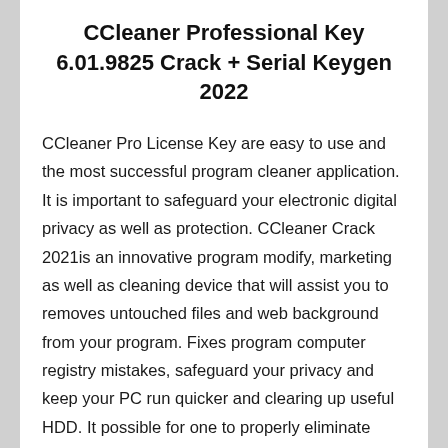CCleaner Professional Key 6.01.9825 Crack + Serial Keygen 2022
CCleaner Pro License Key are easy to use and the most successful program cleaner application. It is important to safeguard your electronic digital privacy as well as protection. CCleaner Crack 2021is an innovative program modify, marketing as well as cleaning device that will assist you to removes untouched files and web background from your program. Fixes program computer registry mistakes, safeguard your privacy and keep your PC run quicker and clearing up useful HDD. It possible for one to properly eliminate programs to be able that they leave no remnants, startup items may be erased.